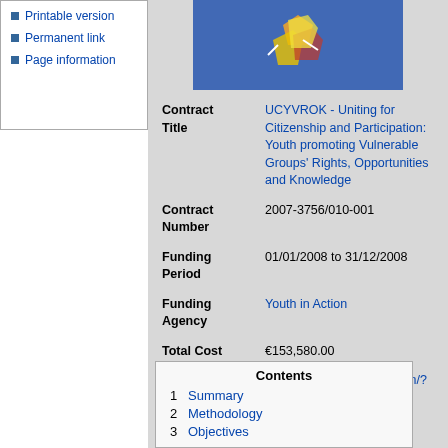Printable version
Permanent link
Page information
[Figure (logo): UCYVROK project logo on blue background with stylized figures]
| Field | Value |
| --- | --- |
| Contract Title | UCYVROK - Uniting for Citizenship and Participation: Youth promoting Vulnerable Groups' Rights, Opportunities and Knowledge |
| Contract Number | 2007-3756/010-001 |
| Funding Period | 01/01/2008 to 31/12/2008 |
| Funding Agency | Youth in Action |
| Total Cost | €153,580.00 |
| Website | http://ucyvrok.wetpaint.com/?mail=1201 |
Contents
1 Summary
2 Methodology
3 Objectives